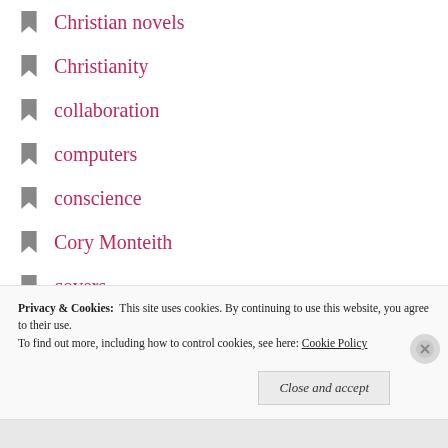Christian novels
Christianity
collaboration
computers
conscience
Cory Monteith
covers
creativity
Criticism
cutting copy
daily life
demons
depression
Privacy & Cookies: This site uses cookies. By continuing to use this website, you agree to their use. To find out more, including how to control cookies, see here: Cookie Policy
Close and accept